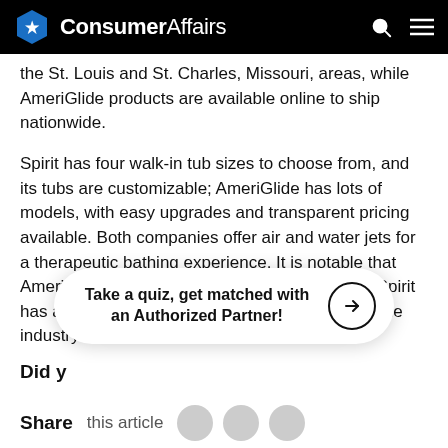ConsumerAffairs
the St. Louis and St. Charles, Missouri, areas, while AmeriGlide products are available online to ship nationwide.
Spirit has four walk-in tub sizes to choose from, and its tubs are customizable; AmeriGlide has lots of models, with easy upgrades and transparent pricing available. Both companies offer air and water jets for a therapeutic bathing experience. It is notable that AmeriGlide's lowest step-in is 6.5 inches, while Spirit has a 2.5-inch threshold — one of the lowest in the industry.
Did y
[Figure (infographic): Overlay banner: 'Take a quiz, get matched with an Authorized Partner!' with arrow button]
Share this article